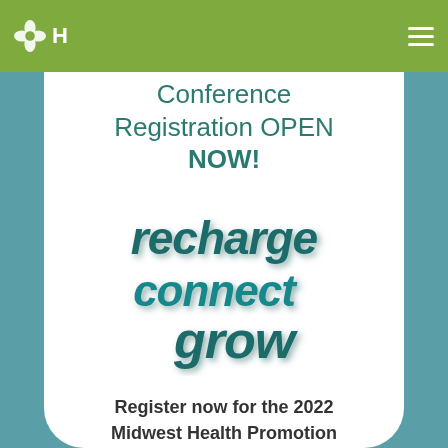H [logo]
Conference Registration OPEN NOW!
[Figure (illustration): Stylized 3D text reading 'recharge connect grow' in teal/dark teal colors with shadow effect]
Register now for the 2022 Midwest Health Promotion Conference!